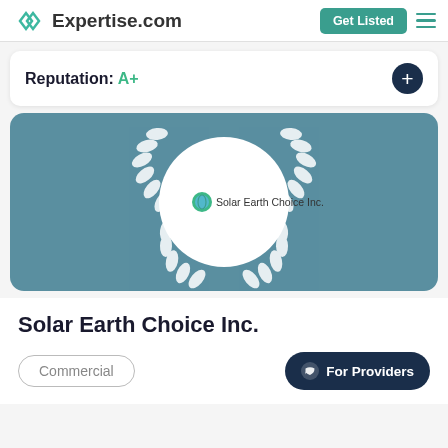Expertise.com  Get Listed
Reputation: A+
[Figure (logo): Award banner with teal background showing Solar Earth Choice Inc. logo inside a white circle surrounded by a white laurel wreath decoration.]
Solar Earth Choice Inc.
Commercial
For Providers